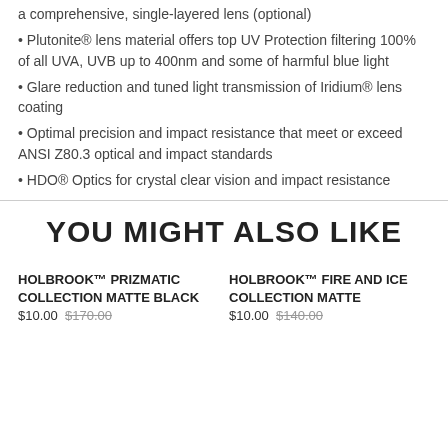a comprehensive, single-layered lens (optional)
Plutonite® lens material offers top UV Protection filtering 100% of all UVA, UVB up to 400nm and some of harmful blue light
Glare reduction and tuned light transmission of Iridium® lens coating
Optimal precision and impact resistance that meet or exceed ANSI Z80.3 optical and impact standards
HDO® Optics for crystal clear vision and impact resistance
YOU MIGHT ALSO LIKE
HOLBROOK™ PRIZMATIC COLLECTION MATTE BLACK
HOLBROOK™ FIRE AND ICE COLLECTION MATTE